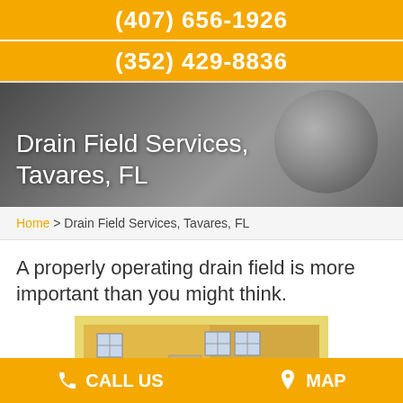(407) 656-1926
(352) 429-8836
Drain Field Services, Tavares, FL
Home > Drain Field Services, Tavares, FL
A properly operating drain field is more important than you might think.
[Figure (photo): Exterior photo of a residential house with yellow/tan stucco facade, windows, bushes and landscaping in bright sunlight]
CALL US   MAP